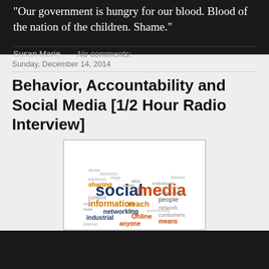"Our government is hungry for our blood. Blood of the nation of the children. Shame."
Susan Marie   No comments:
Sunday, December 14, 2014
Behavior, Accountability and Social Media [1/2 Hour Radio Interview]
[Figure (infographic): A word cloud featuring social media related terms. Prominent words in large text include 'social', 'media', 'information', 'reach', 'sharing', 'networking', 'industrial', 'Online', 'people', 'content', 'consumers', 'means', 'anyone'. Words appear in various colors including dark blue, orange, red, and gray on a white background.]